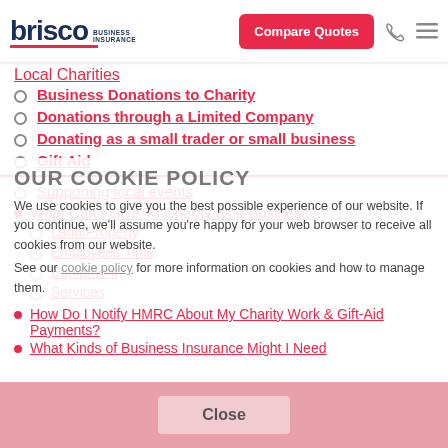Brisco Business Insurance | Compare Quotes
Local Charities (partial, cut off)
Business Donations to Charity
Donations through a Limited Company
Donating as a small trader or small business
Gift Aid
Supporting local events
What Can I Give To Charity as a Business?
Land/Property
Employees Time
Equipment
Services
OUR COOKIE POLICY
We use cookies to give you the best possible experience of our website. If you continue, we'll assume you're happy for your web browser to receive all cookies from our website.
See our cookie policy for more information on cookies and how to manage them.
How Do I Notify HMRC About My Charity Work & Gift-Aid Payments?
What Kinds of Business Insurance Might I Need
Close